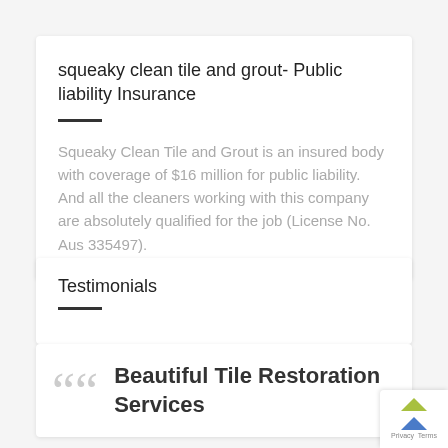squeaky clean tile and grout- Public liability Insurance
Squeaky Clean Tile and Grout is an insured body with coverage of $16 million for public liability. And all the cleaners working with this company are absolutely qualified for the job (License No. Aus 335497).
Testimonials
Beautiful Tile Restoration Services